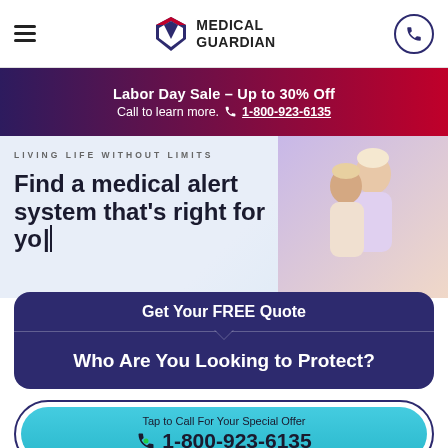Medical Guardian
Labor Day Sale – Up to 30% Off
Call to learn more. 1-800-923-6135
LIVING LIFE WITHOUT LIMITS
Find a medical alert system that's right for yo|
Get Your FREE Quote
Who Are You Looking to Protect?
Tap to Call For Your Special Offer
1-800-923-6135